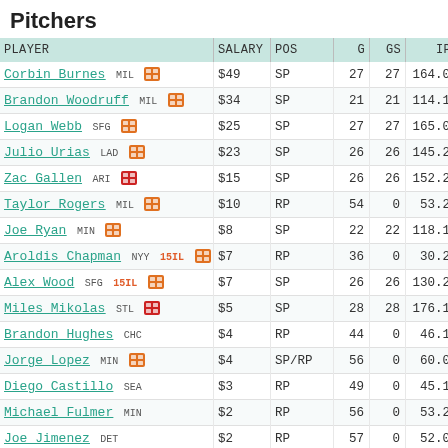Pitchers
| PLAYER | SALARY | POS | G | GS | IP | P |
| --- | --- | --- | --- | --- | --- | --- |
| Corbin Burnes MIL | $49 | SP | 27 | 27 | 164.0 | 5 |
| Brandon Woodruff MIL | $34 | SP | 21 | 21 | 114.1 | 5 |
| Logan Webb SFG | $25 | SP | 27 | 27 | 165.0 | 5 |
| Julio Urias LAD | $23 | SP | 26 | 26 | 145.2 | 5 |
| Zac Gallen ARI | $15 | SP | 26 | 26 | 152.2 | 5 |
| Taylor Rogers MIL | $10 | RP | 54 | 0 | 53.2 | 8 |
| Joe Ryan MIN | $8 | SP | 22 | 22 | 118.1 | 4 |
| Aroldis Chapman NYY 15IL | $7 | RP | 36 | 0 | 30.2 | 5 |
| Alex Wood SFG 15IL | $7 | SP | 26 | 26 | 130.2 | 4 |
| Miles Mikolas STL | $5 | SP | 28 | 28 | 176.1 | 4 |
| Brandon Hughes CHC | $4 | RP | 44 | 0 | 46.1 | 4 |
| Jorge Lopez MIN | $4 | SP/RP | 56 | 0 | 60.0 | 7 |
| Diego Castillo SEA | $3 | RP | 49 | 0 | 45.1 | 6 |
| Michael Fulmer MIN | $2 | RP | 56 | 0 | 53.2 | 6 |
| Joe Jimenez DET | $2 | RP | 57 | 0 | 52.0 | 7 |